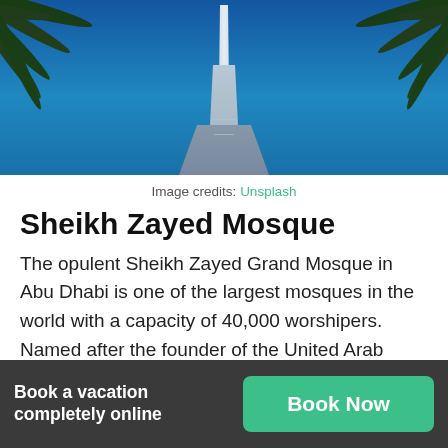[Figure (photo): Aerial/upward view of a tall skyscraper (Burj Khalifa) with palm trees framing the sides against a blue sky]
Image credits: Unsplash
Sheikh Zayed Mosque
The opulent Sheikh Zayed Grand Mosque in Abu Dhabi is one of the largest mosques in the world with a capacity of 40,000 worshipers. Named after the founder of the United Arab Emirates, Sheikh Zayed, who is buried here, the all-white mosque has 82 marble domes, 1,000 columns, 24-carat gold-plated
Book a vacation completely online
Book Now